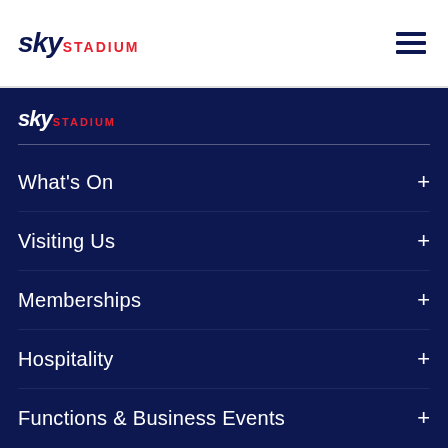sky STADIUM
[Figure (logo): Sky Stadium logo in dark navy and red on white background, with hamburger menu icon]
[Figure (logo): Sky Stadium logo in white and red on dark navy background]
What's On +
Visiting Us +
Memberships +
Hospitality +
Functions & Business Events +